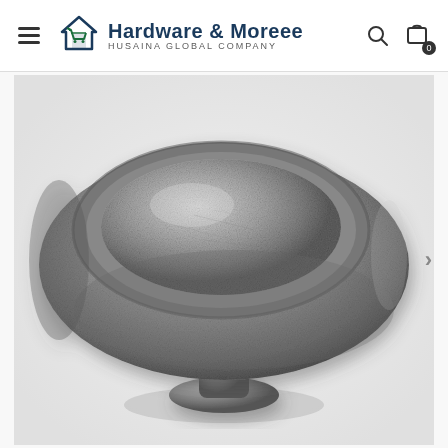Hardware & Moreee - HUSAINA GLOBAL COMPANY
[Figure (photo): Close-up photo of an antique pewter/silver finish oval-top cabinet door knob with a concave top surface and a round stem/base, set against a white background.]